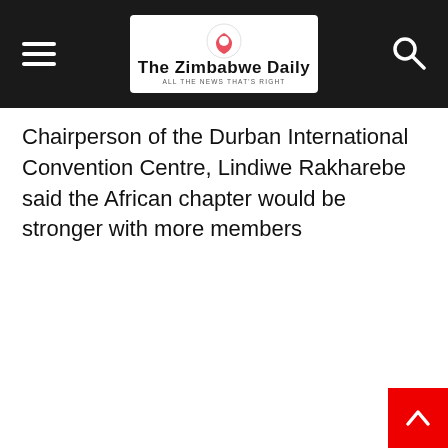The Zimbabwe Daily
Chairperson of the Durban International Convention Centre, Lindiwe Rakharebe said the African chapter would be stronger with more members